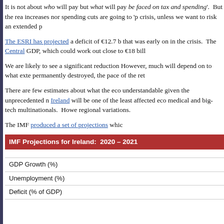It is not about who will pay but what will pay... be faced on tax and spending'. But the reality is that neither tax increases nor spending cuts are going to 'p... crisis, unless we want to risk an extended p...
The ESRI has projected a deficit of €12.7 b... that was early on in the crisis. The Central... GDP, which could work out close to €18 bill...
We are likely to see a significant reduction... However, much will depend on to what exte... permanently destroyed, the pace of the ret...
There are few estimates about what the eco... understandable given the unprecedented n... Ireland will be one of the least affected eco... medical and big-tech multinationals. Howe... regional variations.
The IMF produced a set of projections whic...
| IMF Projections for Ireland: 2020 – 2021 |  |
| --- | --- |
| GDP Growth (%) |  |
| Unemployment (%) |  |
| Deficit (% of GDP) |  |